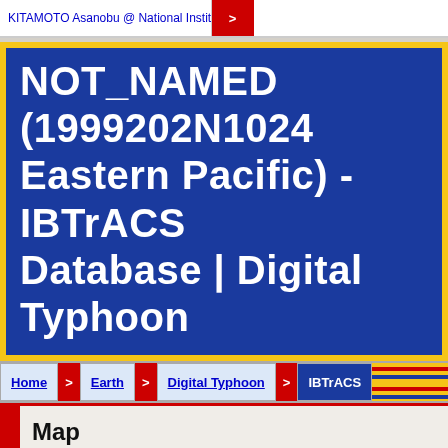KITAMOTO Asanobu @ National Institute of Informatics (NII)
NOT_NAMED (1999202N1024 Eastern Pacific) - IBTrACS Database | Digital Typhoon
Home > Earth > Digital Typhoon > IBTrACS
Map
Latitude (decimal): [input] Longitude (decimal): [input] Radius: [input] km Update